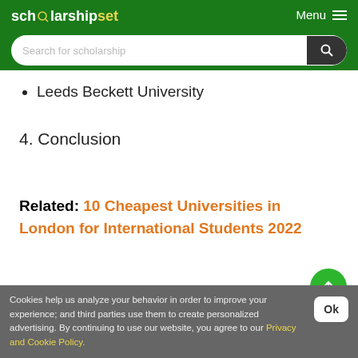scholarshipset | Menu
Leeds Beckett University
4. Conclusion
Related: 10 Cheapest Universities in London for International Students 2022
Benefits of Studying in the UK as an International Student
Cookies help us analyze your behavior in order to improve your experience; and third parties use them to create personalized advertising. By continuing to use our website, you agree to our Privacy and Cookie Policy.